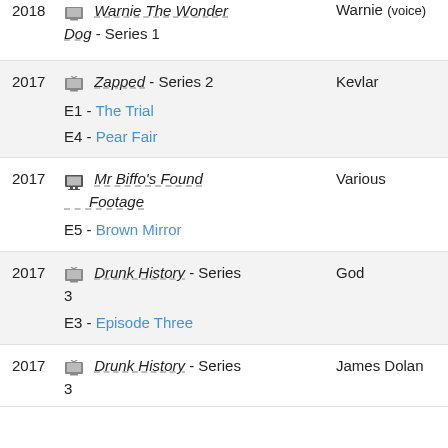| Year | Show | Role |
| --- | --- | --- |
| 2018 | 🖥 Warnie The Wonder Dog - Series 1 | Warnie (voice) |
| 2017 | 📺 Zapped - Series 2
E1 - The Trial
E4 - Pear Fair | Kevlar |
| 2017 | 🖥 Mr Biffo's Found Footage
E5 - Brown Mirror | Various |
| 2017 | 📺 Drunk History - Series 3
E3 - Episode Three | God |
| 2017 | 📺 Drunk History - Series 3 | James Dolan |